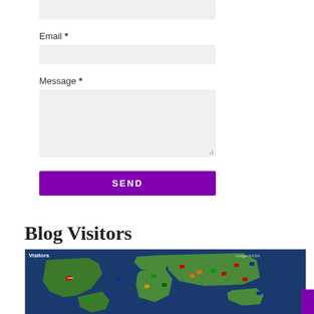Email *
Message *
SEND
Blog Visitors
[Figure (map): World map showing blog visitors by country with flag icons placed on their respective countries. Labeled 'Visitors' in top-left and 'Image:NASA' in top-right.]